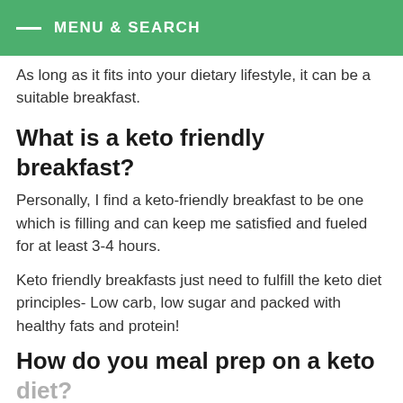MENU & SEARCH
As long as it fits into your dietary lifestyle, it can be a suitable breakfast.
What is a keto friendly breakfast?
Personally, I find a keto-friendly breakfast to be one which is filling and can keep me satisfied and fueled for at least 3-4 hours.
Keto friendly breakfasts just need to fulfill the keto diet principles- Low carb, low sugar and packed with healthy fats and protein!
How do you meal prep on a keto diet?